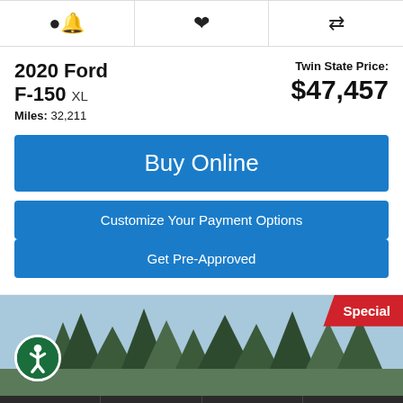[Figure (screenshot): Icon bar with bell (alert), heart (save), and compare arrows icons]
2020 Ford F-150 XL
Twin State Price: $47,457
Miles: 32,211
Buy Online
Customize Your Payment Options
Get Pre-Approved
[Figure (photo): Outdoor photo showing trees and sky with a Special badge in top-right corner and accessibility icon in bottom-left]
Alerts  Save  Compare 0  Login